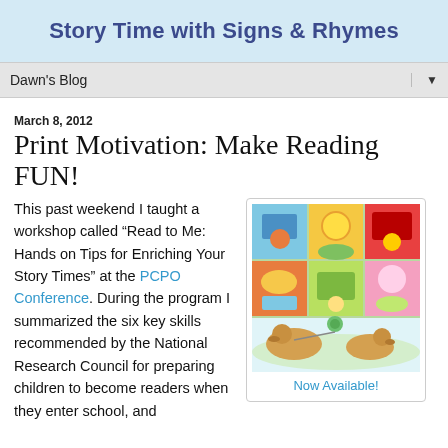Story Time with Signs & Rhymes
Dawn's Blog
March 8, 2012
Print Motivation: Make Reading FUN!
This past weekend I taught a workshop called “Read to Me: Hands on Tips for Enriching Your Story Times” at the PCPO Conference. During the program I summarized the six key skills recommended by the National Research Council for preparing children to become readers when they enter school, and
[Figure (illustration): A collage of colorful children's book covers from the 'Story Time with Signs & Rhymes' series, showing various illustrated scenes with animals and children. Caption below reads 'Now Available!']
Now Available!